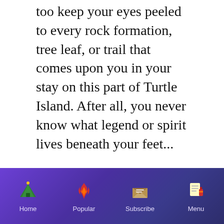too keep your eyes peeled to every rock formation, tree leaf, or trail that comes upon you in your stay on this part of Turtle Island. After all, you never know what legend or spirit lives beneath your feet...
MY GREAT GREAT MISHOOMIS AND THE WENDIGO
Every year when the seasons change from the warm breeze of summer to the cold chill of fall my grandmother tells me a story
Home  Popular  Subscribe  Menu